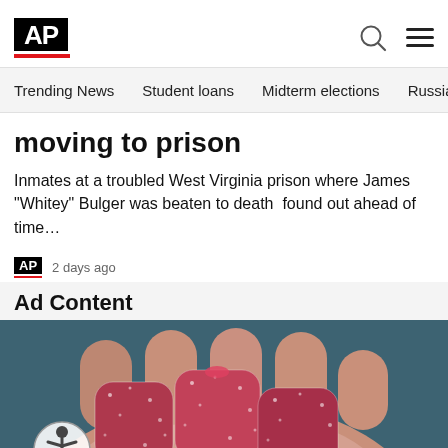AP
Trending News  Student loans  Midterm elections  Russia-Ukr
moving to prison
Inmates at a troubled West Virginia prison where James "Whitey" Bulger was beaten to death  found out ahead of time…
AP  2 days ago
Ad Content
[Figure (photo): Close-up of a hand holding several red sugar-coated gummy candies against a dark teal background, with an accessibility icon overlay in bottom left]